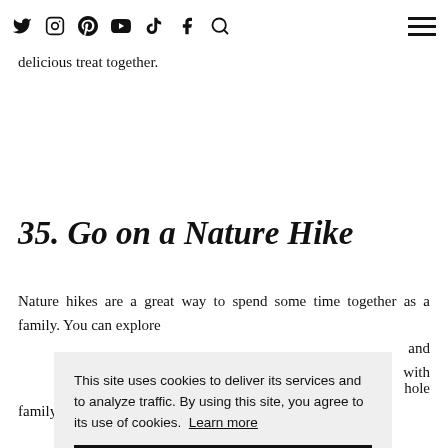[nav bar with social icons: Twitter, Instagram, Pinterest, YouTube, TikTok, Facebook, Search, and hamburger menu]
it as simple or as complicated as you want. Once you're done, you can sit down and enjoy a delicious treat together.
35. Go on a Nature Hike
Nature hikes are a great way to spend some time together as a family. You can explore different trails, spot wildlife, and learn about nature with your kids. It's an activity that the whole family can enjoy. It's a great way to spend some
This site uses cookies to deliver its services and to analyze traffic. By using this site, you agree to its use of cookies. Learn more
OK